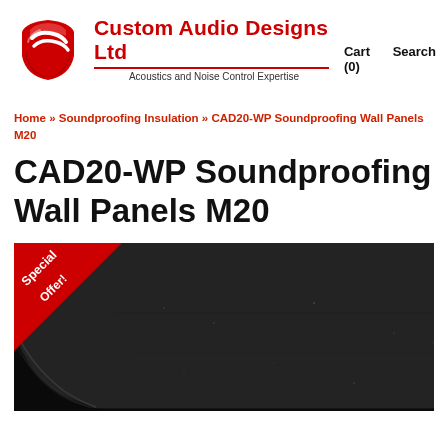[Figure (logo): Custom Audio Designs Ltd logo with red swoosh/shield icon and company name in red, tagline 'Acoustics and Noise Control Expertise' in dark text]
Cart (0)   Search
Home » Soundproofing Insulation » CAD20-WP Soundproofing Wall Panels M20
CAD20-WP Soundproofing Wall Panels M20
[Figure (photo): Product photo of dark grey/black soundproofing wall panel with textured surface, shown partially rolled up at bottom-left corner, with a red 'Special Offer!' triangular badge at top-left corner]